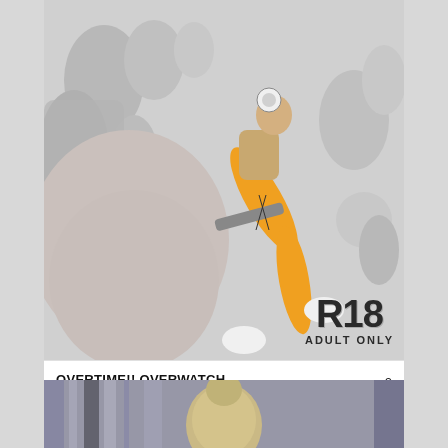[Figure (illustration): Anime/manga style illustration cover of an Overwatch fanbook showing characters in action poses. R18 ADULT ONLY badge in bottom right corner.]
OVERTIME!! OVERWATCH FANBOOK..
♥ 0
👁 11449
15/05/2020
group / anal
[Figure (photo): Partially visible photo/illustration below, showing a blonde person from behind, blurred.]